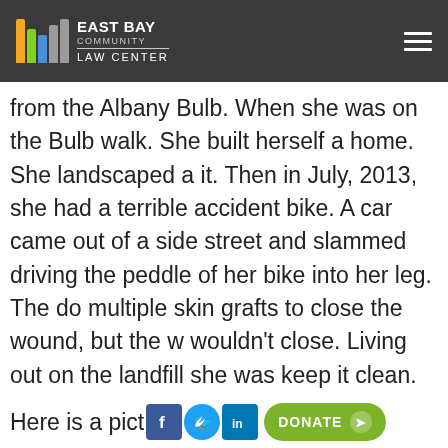East Bay Community Law Center
from the Albany Bulb. When she was on the Bulb walk. She built herself a home. She landscaped a it. Then in July, 2013, she had a terrible accident bike. A car came out of a side street and slammed driving the peddle of her bike into her leg. The do multiple skin grafts to close the wound, but the w wouldn't close. Living out on the landfill she was keep it clean. Her situation was no better, actually under Gilman. She developed cellulites in both le turned swollen and purple.
Here is a pict